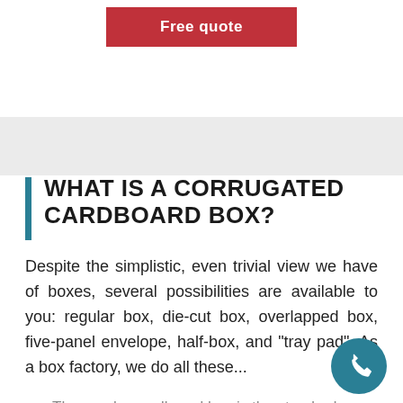[Figure (other): Red 'Free quote' button at top of page]
WHAT IS A CORRUGATED CARDBOARD BOX?
Despite the simplistic, even trivial view we have of boxes, several possibilities are available to you: regular box, die-cut box, overlapped box, five-panel envelope, half-box, and "tray pad". As a box factory, we do all these...
The regular cardboard box is the standard format that...